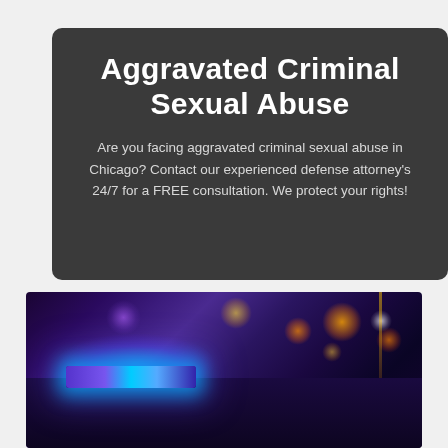Aggravated Criminal Sexual Abuse
Are you facing aggravated criminal sexual abuse in Chicago? Contact our experienced defense attorney's 24/7 for a FREE consultation. We protect your rights!
[Figure (photo): Police car with blue flashing light bar on top, photographed at night with bokeh background of street lights in orange, yellow, and purple tones.]